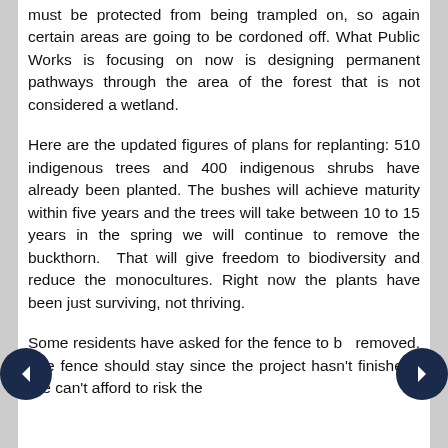must be protected from being trampled on, so again certain areas are going to be cordoned off. What Public Works is focusing on now is designing permanent pathways through the area of the forest that is not considered a wetland.
Here are the updated figures of plans for replanting: 510 indigenous trees and 400 indigenous shrubs have already been planted. The bushes will achieve maturity within five years and the trees will take between 10 to 15 years in the spring we will continue to remove the buckthorn. That will give freedom to biodiversity and reduce the monocultures. Right now the plants have been just surviving, not thriving.
Some residents have asked for the fence to be removed. The fence should stay since the project hasn't finished. We can't afford to risk the